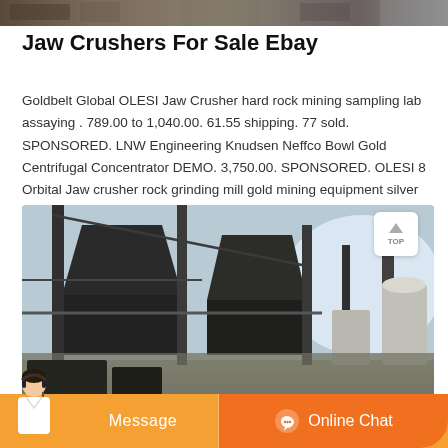[Figure (photo): Partial view of industrial/mining machinery at the top of the page (cropped)]
Jaw Crushers For Sale Ebay
Goldbelt Global OLESI Jaw Crusher hard rock mining sampling lab assaying . 789.00 to 1,040.00. 61.55 shipping. 77 sold. SPONSORED. LNW Engineering Knudsen Neffco Bowl Gold Centrifugal Concentrator DEMO. 3,750.00. SPONSORED. OLESI 8 Orbital Jaw crusher rock grinding mill gold mining equipment silver ore. 6,200.00.
[Figure (photo): Industrial jaw crusher or mining processing equipment inside a large factory/warehouse facility, dark metal machinery with hoppers and conveyor structures]
Message
Online Chat